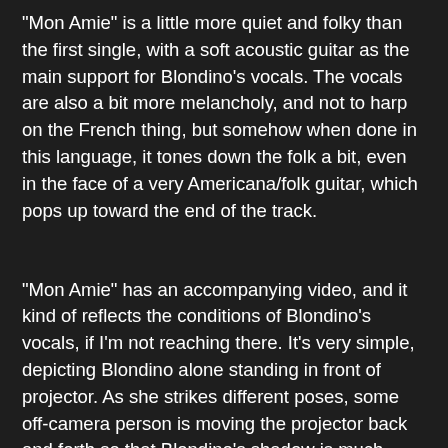“Mon Amie” is a little more quiet and folky than the first single, with a soft acoustic guitar as the main support for Blondino’s vocals. The vocals are also a bit more melancholy, and not to harp on the French thing, but somehow when done in this language, it tones down the folk a bit, even in the face of a very Americana/folk guitar, which pops up toward the end of the track.
“Mon Amie” has an accompanying video, and it kind of reflects the conditions of Blondino’s vocals, if I’m not reaching there. It’s very simple, depicting Blondino alone standing in front of projector. As she strikes different poses, some off-camera person is moving the projector back and forth so that Blondino’s shadow is much more animated, and at times looks like it’s